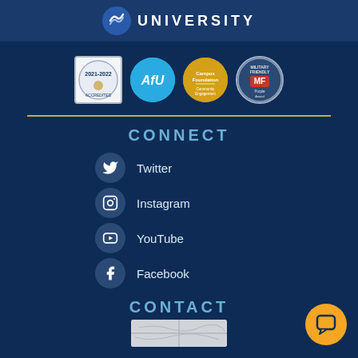UNIVERSITY
[Figure (logo): Four circular badge logos: 2021-2022 accreditation badge, AFU blue logo, Campus Foundation gold badge, Military Friendly badge]
[Figure (infographic): Social media connect section with Twitter, Instagram, YouTube, and Facebook icons and labels]
CONNECT
Twitter
Instagram
YouTube
Facebook
CONTACT
[Figure (map): Small map thumbnail showing location]